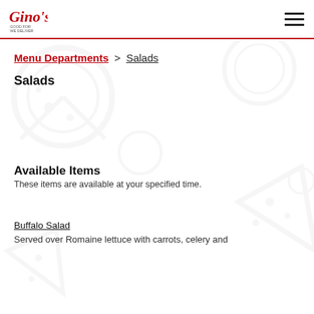Gino's logo and hamburger menu
Menu Departments > Salads
Salads
Available Items
These items are available at your specified time.
Buffalo Salad
Served over Romaine lettuce with carrots, celery and